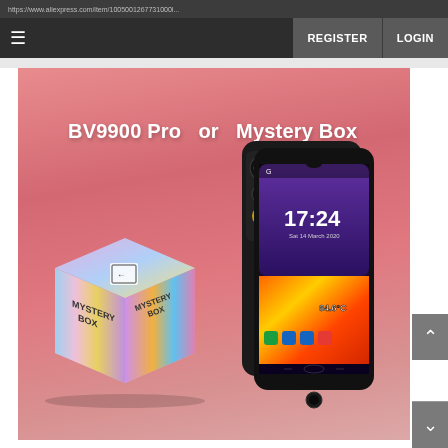Navigation bar with hamburger menu, REGISTER and LOGIN buttons
[Figure (photo): Hero banner with pink/salmon background showing a colorful holographic Mystery Box on the left and a Blackview BV9900 Pro rugged smartphone with thermal camera on the right, with bold white text reading 'BV9900 Pro  or  Mystery Box']
BV9900 Pro  or  Mystery Box